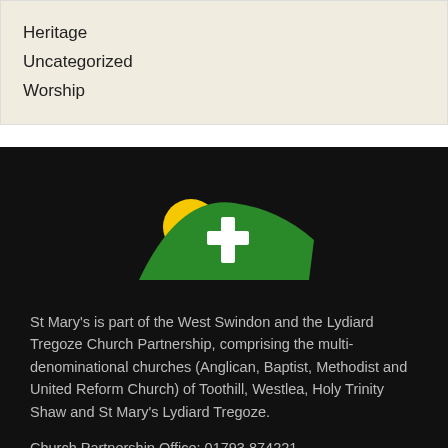Heritage
Uncategorized
Worship
[Figure (logo): Church logo: green hill shape with white cross and yellow sun, on black background]
St Mary's is part of the West Swindon and the Lydiard Tregoze Church Partnership, comprising the multi-denominational churches (Anglican, Baptist, Methodist and United Reform Church) of Toothill, Westlea, Holy Trinity Shaw and St Mary's Lydiard Tregoze.
Church Partnership Office: 01793 874221